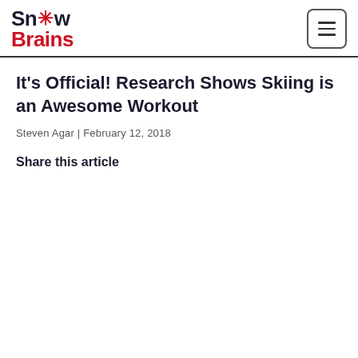SnowBrains
It’s Official! Research Shows Skiing is an Awesome Workout
Steven Agar | February 12, 2018
Share this article